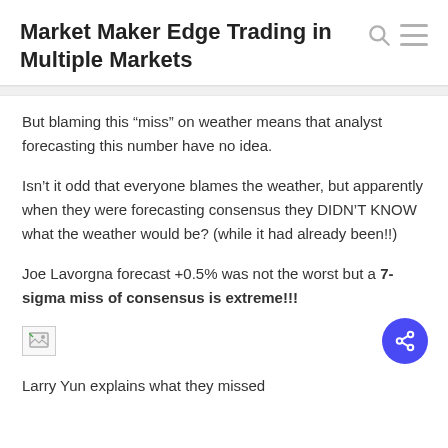Market Maker Edge Trading in Multiple Markets
But blaming this “miss” on weather means that analyst forecasting this number have no idea.
Isn’t it odd that everyone blames the weather, but apparently when they were forecasting consensus they DIDN’T KNOW what the weather would be? (while it had already been!!)
Joe Lavorgna forecast +0.5% was not the worst but a 7-sigma miss of consensus is extreme!!!
[Figure (other): Broken/loading image placeholder]
Larry Yun explains what they missed